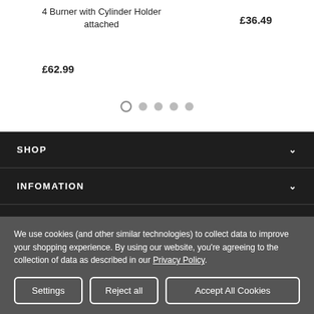4 Burner with Cylinder Holder attached
£62.99
£36.49
[Figure (other): Carousel pagination dots: 5 dots, first one is an open circle and the rest are filled grey circles]
SHOP
INFOMATION
CUSTOMER SERVICE
We use cookies (and other similar technologies) to collect data to improve your shopping experience. By using our website, you're agreeing to the collection of data as described in our Privacy Policy.
Settings
Reject all
Accept All Cookies